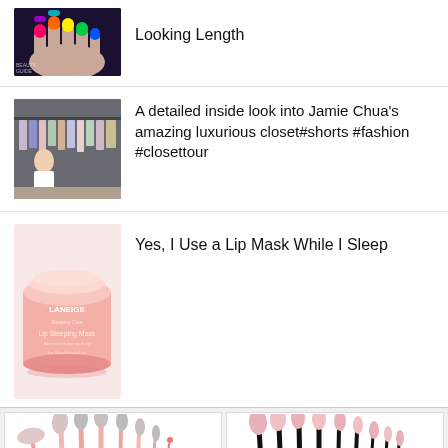[Figure (photo): Thumbnail of colorful nail art with rainbow hues on dark background]
Looking Length
[Figure (photo): Thumbnail of Jamie Chua's luxurious closet walk-in wardrobe]
A detailed inside look into Jamie Chua's amazing luxurious closet#shorts #fashion #closettour
[Figure (photo): Laneige Lip Sleeping Mask product in pink jar]
Yes, I Use a Lip Mask While I Sleep
[Figure (photo): Set of pink and rose gold makeup brushes arranged on white background]
[Figure (photo): Set of pink and black makeup brushes arranged on white background]